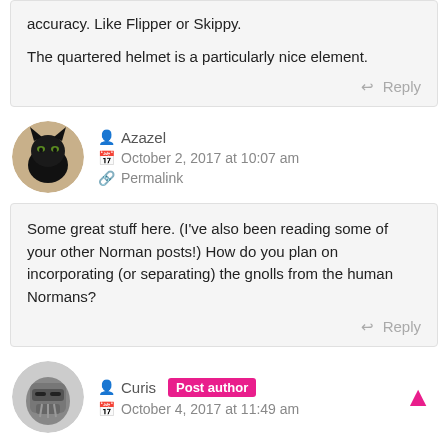accuracy. Like Flipper or Skippy.

The quartered helmet is a particularly nice element.
Reply
Azazel
October 2, 2017 at 10:07 am
Permalink
Some great stuff here. (I've also been reading some of your other Norman posts!) How do you plan on incorporating (or separating) the gnolls from the human Normans?
Reply
Curis
Post author
October 4, 2017 at 11:49 am